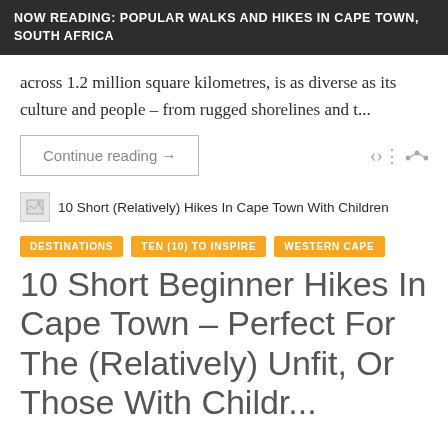NOW READING: POPULAR WALKS AND HIKES IN CAPE TOWN, SOUTH AFRICA
across 1.2 million square kilometres, is as diverse as its culture and people – from rugged shorelines and t...
Continue reading →
[Figure (other): Small broken image placeholder icon]
10 Short (Relatively) Hikes In Cape Town With Children
DESTINATIONS
TEN (10) TO INSPIRE
WESTERN CAPE
10 Short Beginner Hikes In Cape Town – Perfect For The (Relatively) Unfit, Or Those With Childr...